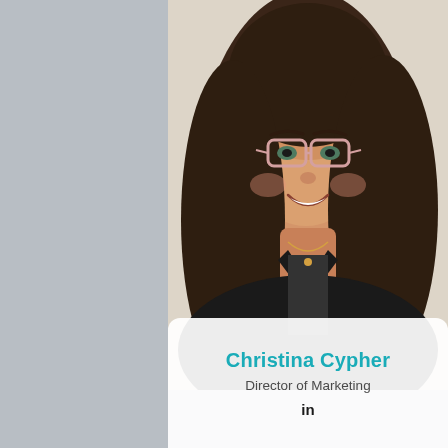[Figure (photo): Professional headshot of Christina Cypher, a young woman with long dark brown hair, wearing clear-framed glasses, a black blazer over a striped top, and a gold necklace. She is smiling warmly against a light background.]
Christina Cypher
Director of Marketing
in